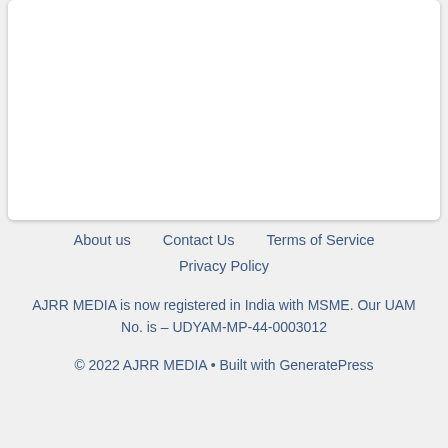[Figure (other): White card/panel with rounded corners and subtle shadow, upper portion of page]
About us  Contact Us  Terms of Service  Privacy Policy  AJRR MEDIA is now registered in India with MSME. Our UAM No. is – UDYAM-MP-44-0003012  © 2022 AJRR MEDIA • Built with GeneratePress